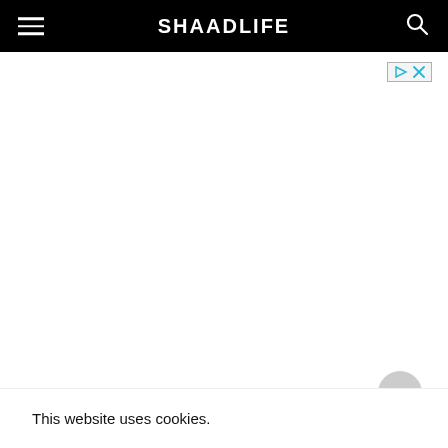SHAADLIFE
[Figure (other): Ad badge with play and close icons]
This website uses cookies.